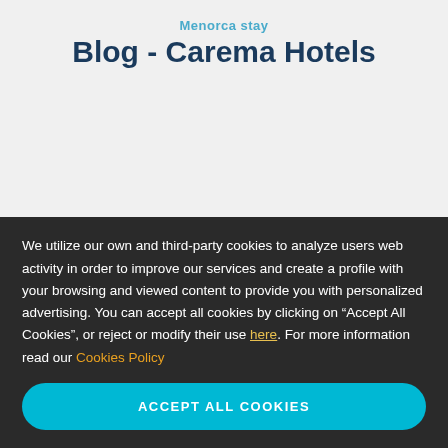Blog - Carema Hotels
We utilize our own and third-party cookies to analyze users web activity in order to improve our services and create a profile with your browsing and viewed content to provide you with personalized advertising. You can accept all cookies by clicking on “Accept All Cookies”, or reject or modify their use here. For more information read our Cookies Policy
ACCEPT ALL COOKIES